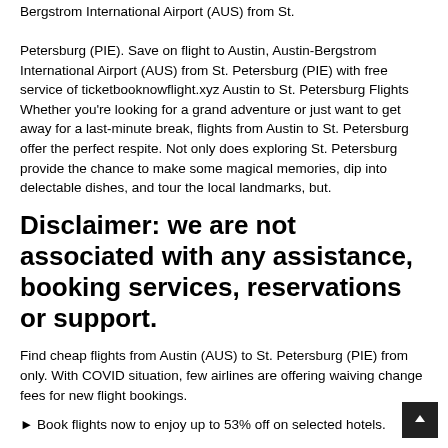Bergstrom International Airport (AUS) from St. Petersburg (PIE). Save on flight to Austin, Austin-Bergstrom International Airport (AUS) from St. Petersburg (PIE) with free service of ticketbooknowflight.xyz Austin to St. Petersburg Flights Whether you're looking for a grand adventure or just want to get away for a last-minute break, flights from Austin to St. Petersburg offer the perfect respite. Not only does exploring St. Petersburg provide the chance to make some magical memories, dip into delectable dishes, and tour the local landmarks, but.
Disclaimer: we are not associated with any assistance, booking services, reservations or support.
Find cheap flights from Austin (AUS) to St. Petersburg (PIE) from only. With COVID situation, few airlines are offering waiving change fees for new flight bookings.
⮞ Book flights now to enjoy up to 53% off on selected hotels.